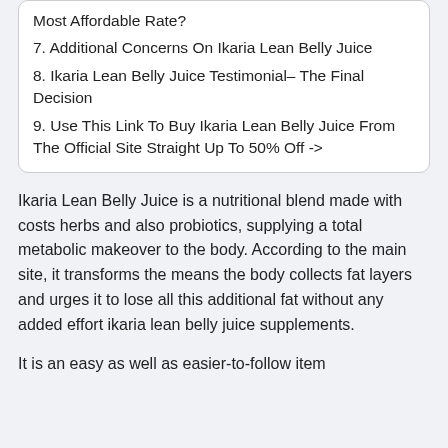Most Affordable Rate?
7. Additional Concerns On Ikaria Lean Belly Juice
8. Ikaria Lean Belly Juice Testimonial– The Final Decision
9. Use This Link To Buy Ikaria Lean Belly Juice From The Official Site Straight Up To 50% Off ->
Ikaria Lean Belly Juice is a nutritional blend made with costs herbs and also probiotics, supplying a total metabolic makeover to the body. According to the main site, it transforms the means the body collects fat layers and urges it to lose all this additional fat without any added effort ikaria lean belly juice supplements.
It is an easy as well as easier-to-follow item